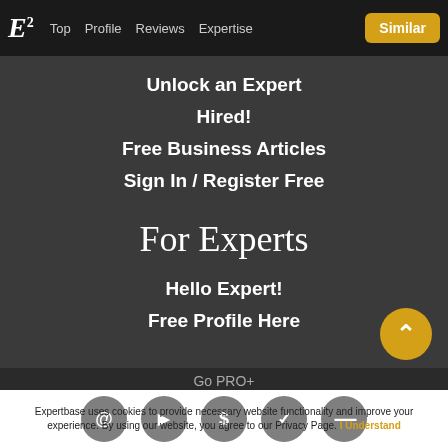E² | Top | Profile | Reviews | Expertise | Similar
Unlock an Expert
Hired!
Free Business Articles
Sign In / Register Free
For Experts
Hello Expert!
Free Profile Here
Go PRO+
Expertbase uses cookies to provide necessary website functionality and improve your experience. By using our website, you agree to our Privacy Page. I Understand